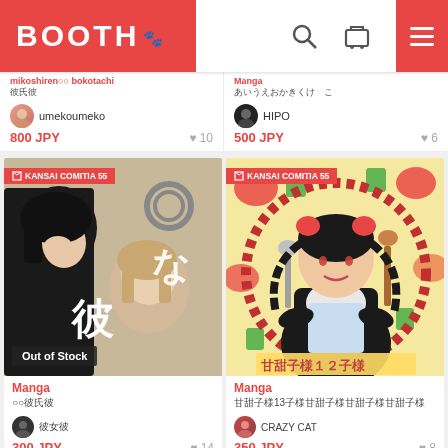BOOTH
umekoumeko
800 JPY ♥ 10
HIPO
500 JPY ♥ 6
[Figure (illustration): Manga cover art showing two anime characters with handcuffs, KANSAI COMITIA 55 badge, Out of Stock label, Japanese text 彼 and な]
Manga
○○彼氏
300 JPY ♥ 14
[Figure (illustration): Manga cover art showing anime girl in dark outfit holding cooking spoons, colorful food background, KANSAI COMITIA 55 badge, Japanese text 甘甜子様13子様]
Manga
甘甜子様13子様甘甜子様甘甜子様甘甜子様
CRAZY CAT
350 JPY ♥ 8